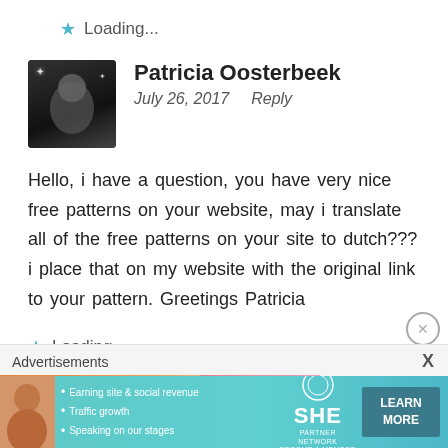Loading...
Patricia Oosterbeek
July 26, 2017   Reply
Hello, i have a question, you have very nice free patterns on your website, may i translate all of the free patterns on your site to dutch??? i place that on my website with the original link to your pattern. Greetings Patricia
Loading...
Advertisements
[Figure (infographic): Advertisement banner for SHE Partner Network with photo of woman, bullet points: Earning site & social revenue, Traffic growth, Speaking on our stages, SHE logo, and LEARN MORE button]